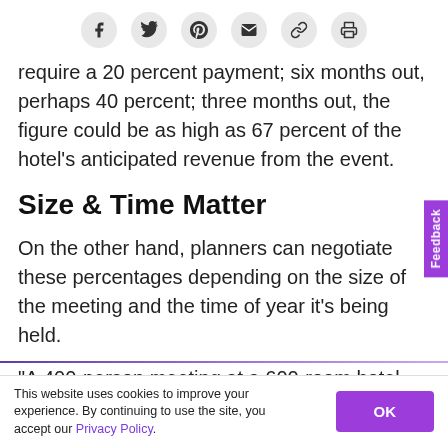[Social share icons: Facebook, Twitter, Pinterest, Email, Link, Print]
require a 20 percent payment; six months out, perhaps 40 percent; three months out, the figure could be as high as 67 percent of the hotel's anticipated revenue from the event.
Size & Time Matter
On the other hand, planners can negotiate these percentages depending on the size of the meeting and the time of year it's being held.
“A 400-person meeting at a 600-room hotel has much
This website uses cookies to improve your experience. By continuing to use the site, you accept our Privacy Policy.